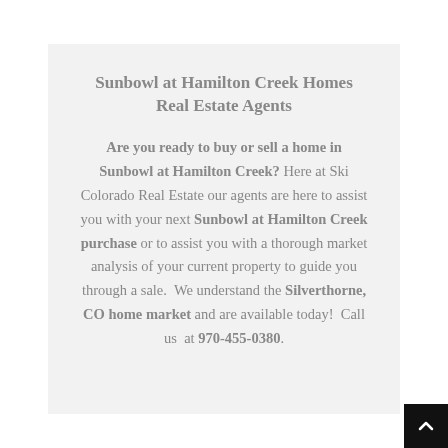Sunbowl at Hamilton Creek Homes Real Estate Agents
Are you ready to buy or sell a home in Sunbowl at Hamilton Creek? Here at Ski Colorado Real Estate our agents are here to assist you with your next Sunbowl at Hamilton Creek purchase or to assist you with a thorough market analysis of your current property to guide you through a sale.  We understand the Silverthorne, CO home market and are available today!  Call us  at 970-455-0380.